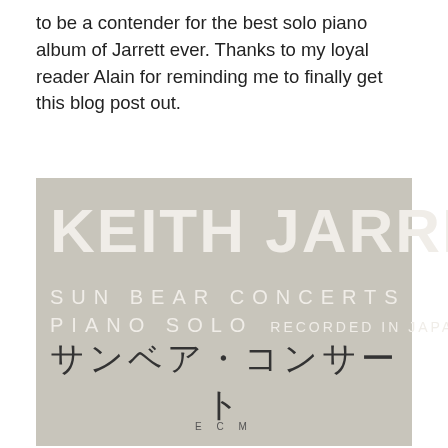to be a contender for the best solo piano album of Jarrett ever. Thanks to my loyal reader Alain for reminding me to finally get this blog post out.
[Figure (illustration): Album cover for Keith Jarrett Sun Bear Concerts Piano Solo – Recorded in Japan. Gray-beige background with white bold text 'KEITH JARRETT' in large letters, below it 'SUN BEAR CONCERTS' and 'PIANO SOLO   RECORDED IN JAPAN' in spaced caps, Japanese katakana text 'サンベア・コンサート' in dark ink in the center, and 'E C M' label at the bottom center.]